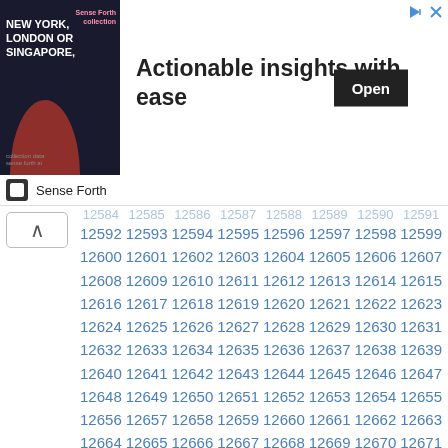[Figure (infographic): Advertisement banner: image of a man in suit on dark background with text 'NEW YORK, LONDON OR SINGAPORE,' on the left; bold headline 'Actionable insights with ease' in center; black 'Open' button on right; close/share icons top right; 'Sense Forth' branding below.]
| 12592 | 12593 | 12594 | 12595 | 12596 | 12597 | 12598 | 12599 |
| 12600 | 12601 | 12602 | 12603 | 12604 | 12605 | 12606 | 12607 |
| 12608 | 12609 | 12610 | 12611 | 12612 | 12613 | 12614 | 12615 |
| 12616 | 12617 | 12618 | 12619 | 12620 | 12621 | 12622 | 12623 |
| 12624 | 12625 | 12626 | 12627 | 12628 | 12629 | 12630 | 12631 |
| 12632 | 12633 | 12634 | 12635 | 12636 | 12637 | 12638 | 12639 |
| 12640 | 12641 | 12642 | 12643 | 12644 | 12645 | 12646 | 12647 |
| 12648 | 12649 | 12650 | 12651 | 12652 | 12653 | 12654 | 12655 |
| 12656 | 12657 | 12658 | 12659 | 12660 | 12661 | 12662 | 12663 |
| 12664 | 12665 | 12666 | 12667 | 12668 | 12669 | 12670 | 12671 |
| 12672 | 12673 | 12674 | 12675 | 12676 | 12677 | 12678 | 12679 |
| 12680 | 12681 | 12682 | 12683 | 12684 | 12685 | 12686 | 12687 |
| 12688 | 12689 | 12690 | 12691 | 12692 | 12693 | 12694 | 12695 |
| 12696 | 12697 | 12698 | 12699 | 12700 | 12701 | 12702 | 12703 |
| 12704 | 12705 | 12706 | 12707 | 12708 | 12709 | 12710 | 12711 |
| 12712 | 12713 | 12714 | 12715 | 12716 | 12717 | 12718 | 12719 |
| 12720 | 12721 | 12722 | 12723 | 12724 | 12725 | 12726 | 12727 |